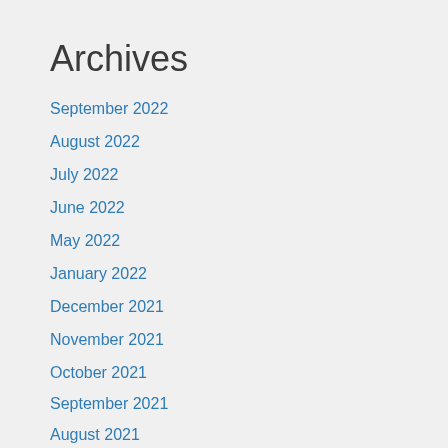Archives
September 2022
August 2022
July 2022
June 2022
May 2022
January 2022
December 2021
November 2021
October 2021
September 2021
August 2021
July 2021